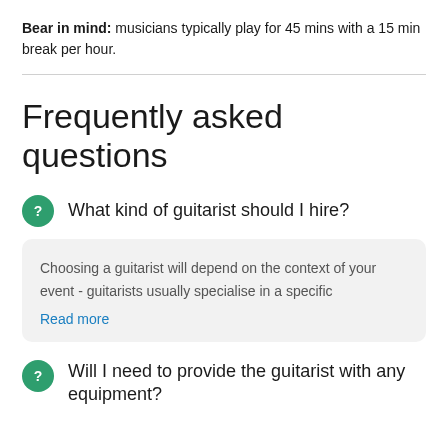Bear in mind: musicians typically play for 45 mins with a 15 min break per hour.
Frequently asked questions
What kind of guitarist should I hire?
Choosing a guitarist will depend on the context of your event - guitarists usually specialise in a specific
Read more
Will I need to provide the guitarist with any equipment?